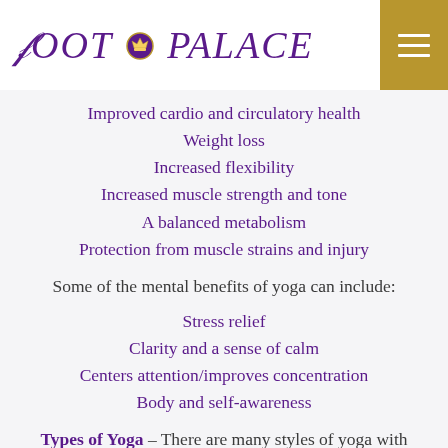Foot Palace
Improved cardio and circulatory health
Weight loss
Increased flexibility
Increased muscle strength and tone
A balanced metabolism
Protection from muscle strains and injury
Some of the mental benefits of yoga can include:
Stress relief
Clarity and a sense of calm
Centers attention/improves concentration
Body and self-awareness
Types of Yoga – There are many styles of yoga with unique characteristics. Before your yoga journey begins, it is recommended to consult your